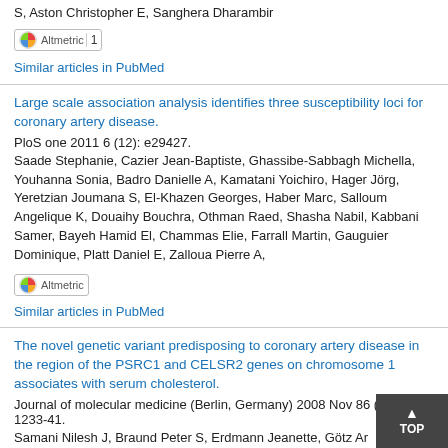S, Aston Christopher E, Sanghera Dharambir
[Figure (other): Altmetric badge showing score 1]
Similar articles in PubMed
Large scale association analysis identifies three susceptibility loci for coronary artery disease.
PloS one 2011 6 (12): e29427.
Saade Stephanie, Cazier Jean-Baptiste, Ghassibe-Sabbagh Michella, Youhanna Sonia, Badro Danielle A, Kamatani Yoichiro, Hager Jörg, Yeretzian Joumana S, El-Khazen Georges, Haber Marc, Salloum Angelique K, Douaihy Bouchra, Othman Raed, Shasha Nabil, Kabbani Samer, Bayeh Hamid El, Chammas Elie, Farrall Martin, Gauguier Dominique, Platt Daniel E, Zalloua Pierre A,
[Figure (other): Altmetric badge (no score shown)]
Similar articles in PubMed
The novel genetic variant predisposing to coronary artery disease in the region of the PSRC1 and CELSR2 genes on chromosome 1 associates with serum cholesterol.
Journal of molecular medicine (Berlin, Germany) 2008 Nov 86 (11): 1233-41.
Samani Nilesh J, Braund Peter S, Erdmann Jeanette, Götz Ar Tomaszewski Maciej, Linsel-Nitschke Patrick, Hajat Cother,